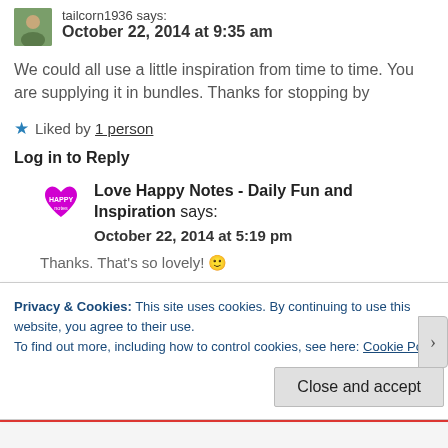tailcorn1936 says:
October 22, 2014 at 9:35 am
We could all use a little inspiration from time to time. You are supplying it in bundles. Thanks for stopping by
★ Liked by 1 person
Log in to Reply
Love Happy Notes - Daily Fun and Inspiration says:
October 22, 2014 at 5:19 pm
Thanks. That's so lovely! 🙂
Privacy & Cookies: This site uses cookies. By continuing to use this website, you agree to their use.
To find out more, including how to control cookies, see here: Cookie Policy
Close and accept